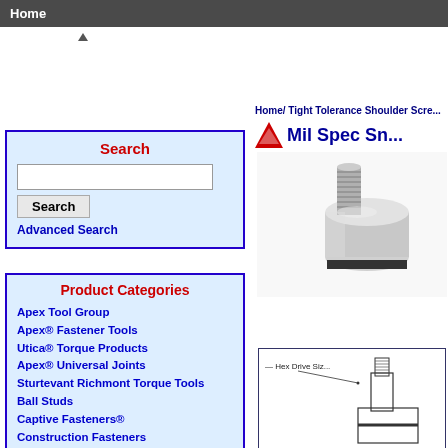Home
Search
Advanced Search
Product Categories
Apex Tool Group
Apex® Fastener Tools
Utica® Torque Products
Apex® Universal Joints
Sturtevant Richmont Torque Tools
Ball Studs
Captive Fasteners®
Construction Fasteners
COVID-19 Fasteners
Delta PT® Screws
Home/ Tight Tolerance Shoulder Scre...
Mil Spec Sn...
[Figure (photo): Photograph of a silver mil-spec shoulder screw with threaded portion and slotted head]
[Figure (engineering-diagram): Technical engineering diagram of a shoulder screw with annotation 'Hex Drive Siz...']